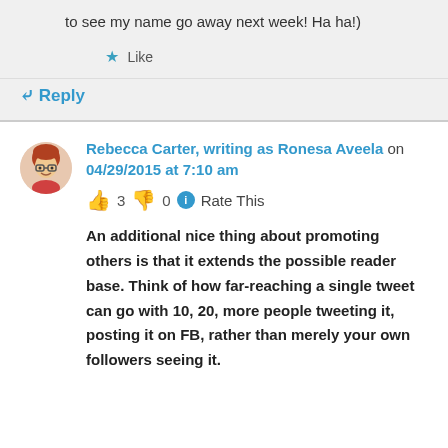to see my name go away next week! Ha ha!)
★ Like
↪ Reply
Rebecca Carter, writing as Ronesa Aveela on 04/29/2015 at 7:10 am
👍 3 👎 0 ℹ Rate This
An additional nice thing about promoting others is that it extends the possible reader base. Think of how far-reaching a single tweet can go with 10, 20, more people tweeting it, posting it on FB, rather than merely your own followers seeing it.